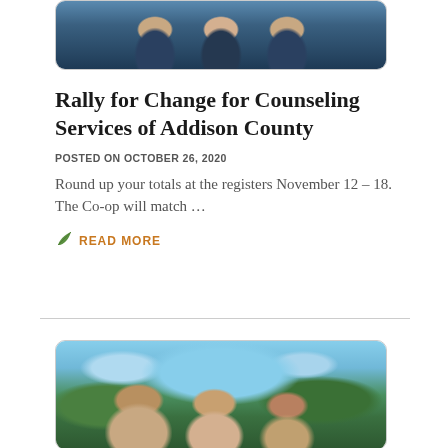[Figure (photo): Partial view of people wearing dark blue t-shirts, outdoors at a rally event]
Rally for Change for Counseling Services of Addison County
POSTED ON OCTOBER 26, 2020
Round up your totals at the registers November 12 – 18.  The Co-op will match …
READ MORE
[Figure (photo): Group of people posing outdoors on a sunny day with trees and buildings in background]